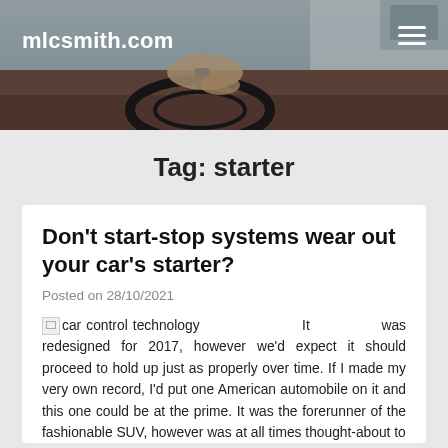[Figure (photo): Header photo of a person driving a car, hands on steering wheel, taken from passenger side. Site logo text 'mlcsmith.com' in white bold on left, hamburger menu icon in white on right.]
mlcsmith.com
Tag: starter
Don't start-stop systems wear out your car's starter?
Posted on 28/10/2021
It was redesigned for 2017, however we'd expect it should proceed to hold up just as properly over time. If I made my very own record, I'd put one American automobile on it and this one could be at the prime. It was the forerunner of the fashionable SUV, however was at all times thought-about to be a ration on cars. The 2016 Cadillac ATS is one of the